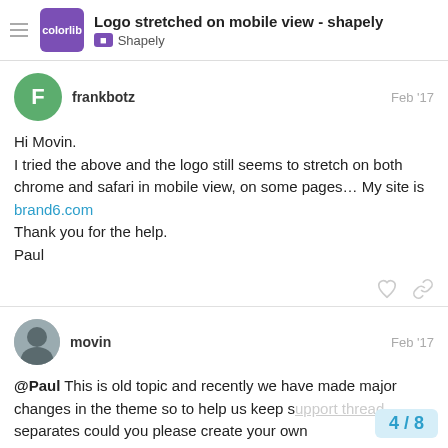Logo stretched on mobile view - shapely | Shapely
frankbotz  Feb '17
Hi Movin.
I tried the above and the logo still seems to stretch on both chrome and safari in mobile view, on some pages… My site is brand6.com
Thank you for the help.
Paul
movin  Feb '17
@Paul This is old topic and recently we have made major changes in the theme so to help us keep support thread separates could you please create your own question here https://colorlibsupport.com/c/